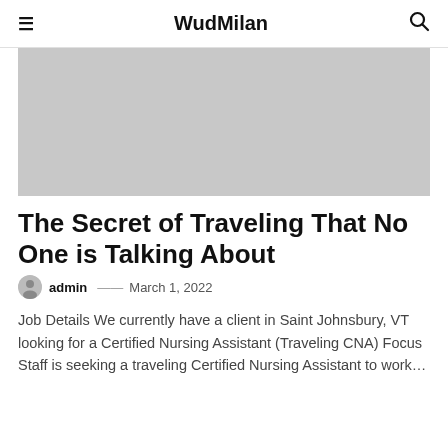WudMilan
[Figure (photo): Gray placeholder hero image]
The Secret of Traveling That No One is Talking About
admin — March 1, 2022
Job Details We currently have a client in Saint Johnsbury, VT looking for a Certified Nursing Assistant (Traveling CNA) Focus Staff is seeking a traveling Certified Nursing Assistant to work…